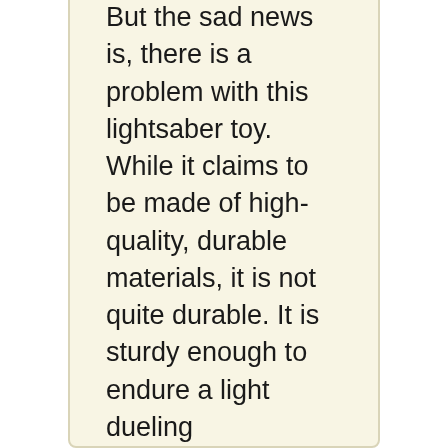Moreover, the sound and light effects are motion-sensitive. Both of them can be triggered by merely switching around and hitting an object.
The hilt has a realistic and detailed design. Besides, the handle is made to have a comfortable grip so the child can comfortably use it without the saber slipping off their hand. Your kids will surely have fun using it and reenacting a realistic galaxy warriors play based on the Star Wars.
But the sad news is, there is a problem with this lightsaber toy. While it claims to be made of high-quality, durable materials, it is not quite durable. It is sturdy enough to endure a light dueling